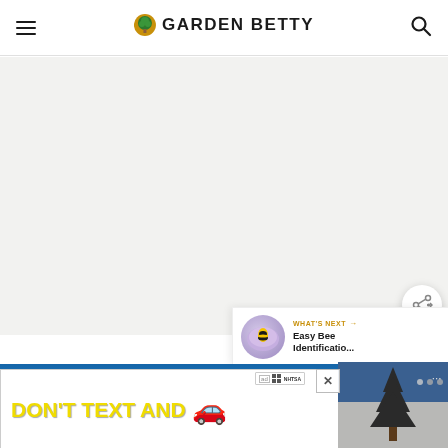Garden Betty
[Figure (photo): Large white/light gray blank main image area occupying most of the page]
[Figure (infographic): Share button (circle with share icon) overlaid on lower right of main image]
[Figure (infographic): What's Next panel with thumbnail of bee on flower and text 'Easy Bee Identificatio...']
[Figure (photo): Bottom advertisement banner: DON'T TEXT AND [car emoji] with NHTSA ad badge and close button]
[Figure (photo): Right side bottom area showing partial tree/winter image in dark gray tones with dots indicator]